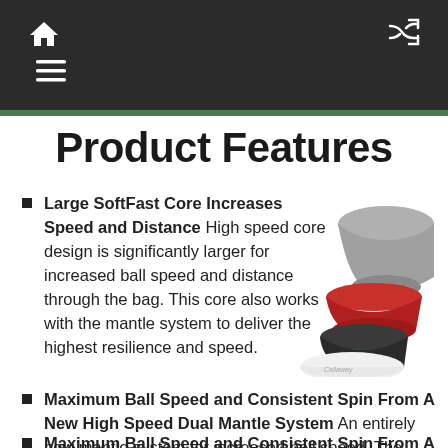Home | Menu | Shuffle
Product Features
Large SoftFast Core Increases Speed and Distance High speed core design is significantly larger for increased ball speed and distance through the bag. This core also works with the mantle system to deliver the highest resilience and speed.
[Figure (photo): Exploded cross-section view of a Callaway golf ball showing layered components: white outer shell, dark mantle layer, red inner mantle, and gray core on top.]
Maximum Ball Speed and Consistent Spin From A New High Speed Dual Mantle System An entirely new mantle system for increased ball speed. The Soft Inner Mantle and a highly resilient Firm Outer Mantle work